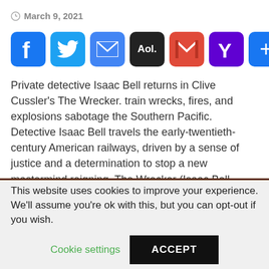March 9, 2021
[Figure (infographic): Row of social share buttons: Facebook (blue), Twitter (blue), Email (blue), AOL (black), Gmail (red), Yahoo (purple), More/Plus (blue)]
Private detective Isaac Bell returns in Clive Cussler's The Wrecker. train wrecks, fires, and explosions sabotage the Southern Pacific. Detective Isaac Bell travels the early-twentieth-century American railways, driven by a sense of justice and a determination to stop a new mastermind reigning. The Wrecker (Isaac Bell series Book 2) and millions of other books are .. This item:The Wrecker (An Isaac Bell Adventure) by Clive Cussler Paperback $
This website uses cookies to improve your experience. We'll assume you're ok with this, but you can opt-out if you wish.
Cookie settings
ACCEPT